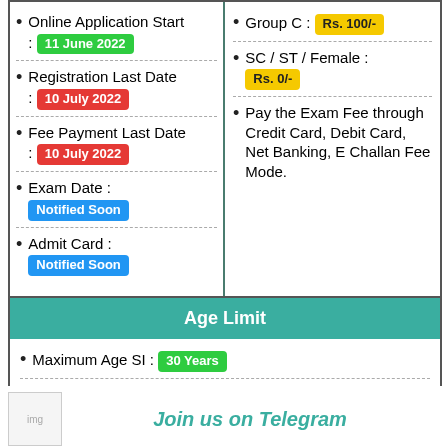Online Application Start : 11 June 2022
Registration Last Date : 10 July 2022
Fee Payment Last Date : 10 July 2022
Exam Date : Notified Soon
Admit Card : Notified Soon
Group C : Rs. 100/-
SC / ST / Female : Rs. 0/-
Pay the Exam Fee through Credit Card, Debit Card, Net Banking, E Challan Fee Mode.
Age Limit
Maximum Age SI : 30 Years
Maximum Age Constable : 18 – 25 Years
Join us on Telegram